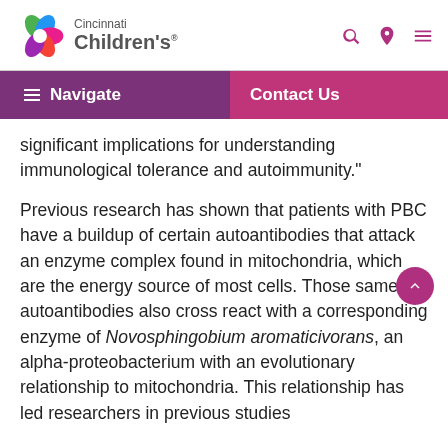Cincinnati Children's
Navigate | Contact Us
significant implications for understanding immunological tolerance and autoimmunity."
Previous research has shown that patients with PBC have a buildup of certain autoantibodies that attack an enzyme complex found in mitochondria, which are the energy source of most cells. Those same autoantibodies also cross react with a corresponding enzyme of Novosphingobium aromaticivorans, an alpha-proteobacterium with an evolutionary relationship to mitochondria. This relationship has led researchers in previous studies